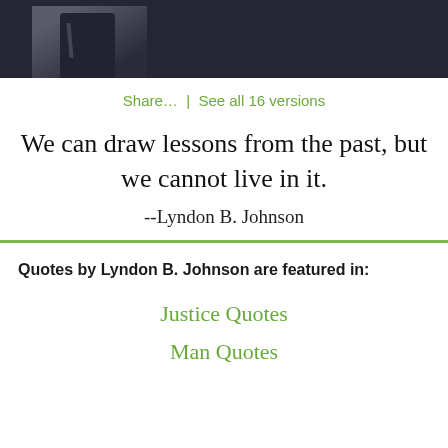[Figure (photo): Dark banner with partial photo of a man in suit and tie visible at bottom left]
Share...  |  See all 16 versions
We can draw lessons from the past, but we cannot live in it.
--Lyndon B. Johnson
Quotes by Lyndon B. Johnson are featured in:
Justice Quotes
Man Quotes